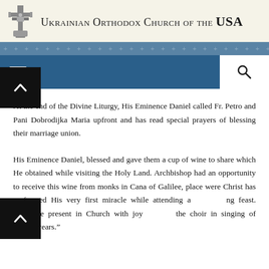Ukrainian Orthodox Church of the USA
At the end of the Divine Liturgy, His Eminence Daniel called Fr. Petro and Pani Dobrodijka Maria upfront and has read special prayers of blessing their marriage union.
His Eminence Daniel, blessed and gave them a cup of wine to share which He obtained while visiting the Holy Land. Archbishop had an opportunity to receive this wine from monks in Cana of Galilee, place were Christ has performed His very first miracle while attending a wedding feast. Everyone present in Church with joy joined the choir in singing of “Many years.”